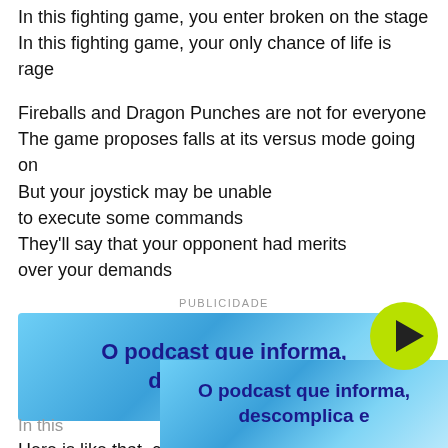In this fighting game, you enter broken on the stage
In this fighting game, your only chance of life is rage
Fireballs and Dragon Punches are not for everyone
The game proposes falls at its versus mode going on
But your joystick may be unable
to execute some commands
They'll say that your opponent had merits
over your demands
PUBLICIDADE
[Figure (infographic): Blue gradient advertisement banner with bold dark blue text reading 'O podcast que informa, descomplica e']
Here is like that, cheat codes are not for everyone
You can't use them, you can get none
There's no use complaining, it'll be the same
You'll have to play like that
[Figure (infographic): Blue gradient advertisement banner at bottom with bold dark blue text reading 'O podcast que informa, descomplica e']
In this ... age